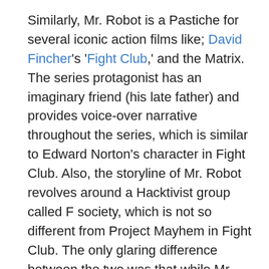Similarly, Mr. Robot is a Pastiche for several iconic action films like; David Fincher's 'Fight Club,' and the Matrix. The series protagonist has an imaginary friend (his late father) and provides voice-over narrative throughout the series, which is similar to Edward Norton's character in Fight Club. Also, the storyline of Mr. Robot revolves around a Hacktivist group called F society, which is not so different from Project Mayhem in Fight Club. The only glaring difference between the two was that while Mr. Robot wrecked Virtual Havoc on the world, Project Mayhem acted out physical acts of destruction.
There was also a scene where Elliot had a conversation with his dead father (imaginary friend), which was gotten from The Matrix.